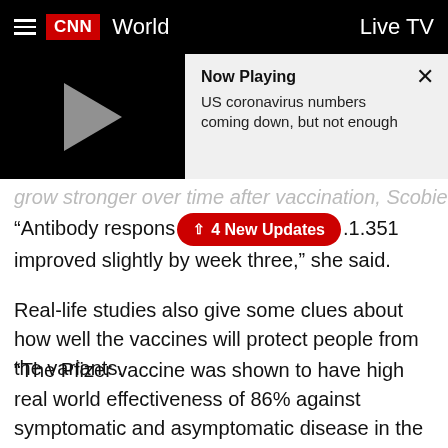CNN World | Live TV
[Figure (screenshot): CNN video player showing 'Now Playing: US coronavirus numbers coming down, but not enough' with a play button on dark background and an X close button]
grow stronger over time after vaccination, Scobie said.
“Antibody response to B.1.351 improved slightly by week three,” she said.
Real-life studies also give some clues about how well the vaccines will protect people from the variants.
“The Pfizer vaccine was shown to have high real world effectiveness of 86% against symptomatic and asymptomatic disease in the UK and 84% against symptomatic disease in Israel during times when B.1.1.7 was prevalent,” Scobie said.